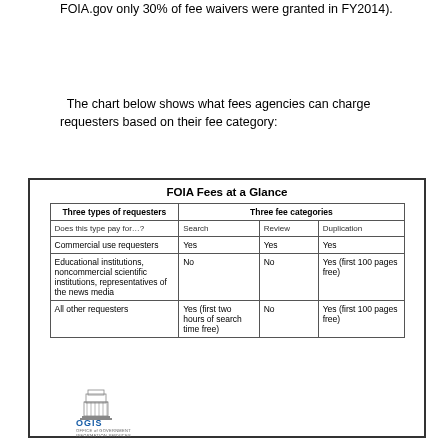FOIA.gov only 30% of fee waivers were granted in FY2014).
The chart below shows what fees agencies can charge requesters based on their fee category:
| Three types of requesters | Three fee categories: Search | Three fee categories: Review | Three fee categories: Duplication |
| --- | --- | --- | --- |
| Does this type pay for...? | Search | Review | Duplication |
| Commercial use requesters | Yes | Yes | Yes |
| Educational institutions, noncommercial scientific institutions, representatives of the news media | No | No | Yes (first 100 pages free) |
| All other requesters | Yes (first two hours of search time free) | No | Yes (first 100 pages free) |